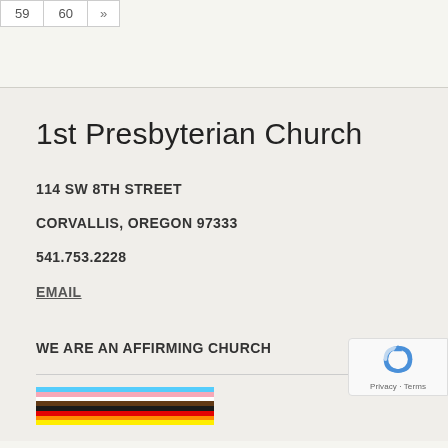59  60  »
1st Presbyterian Church
114 SW 8TH STREET
CORVALLIS, OREGON 97333
541.753.2228
EMAIL
WE ARE AN AFFIRMING CHURCH
[Figure (illustration): Progress Pride flag showing diagonal stripes in colors: light blue, pink, white, brown, black, red, orange, yellow, green, blue, purple]